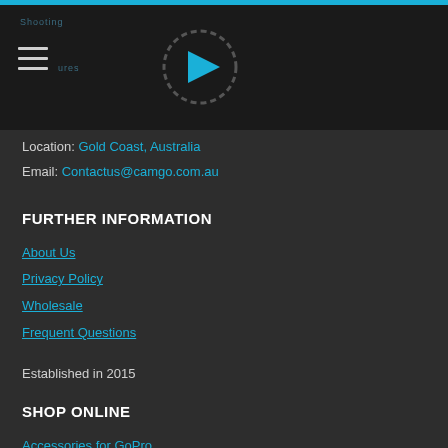[Figure (logo): CamGo website header with hamburger menu icon and play button logo on dark background]
Location: Gold Coast, Australia
Email: Contactus@camgo.com.au
FURTHER INFORMATION
About Us
Privacy Policy
Wholesale
Frequent Questions
Established in 2015
SHOP ONLINE
Accessories for GoPro
Camera Accessories
Drone Accessories